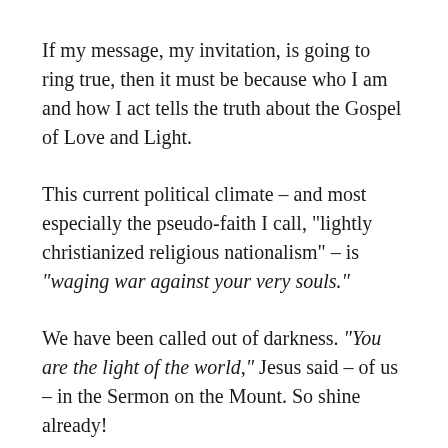If my message, my invitation, is going to ring true, then it must be because who I am and how I act tells the truth about the Gospel of Love and Light.
This current political climate – and most especially the pseudo-faith I call, "lightly christianized religious nationalism" – is "waging war against your very souls."
We have been called out of darkness. "You are the light of the world," Jesus said – of us – in the Sermon on the Mount. So shine already!